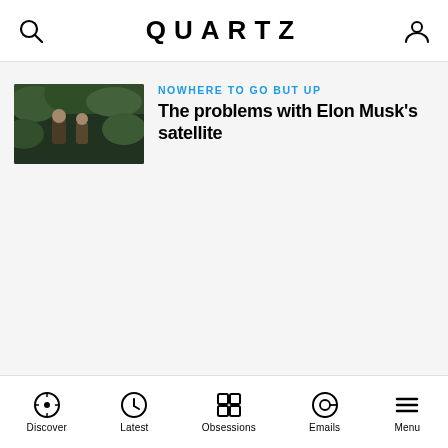QUARTZ
[Figure (screenshot): Thumbnail image of people in foliage/jungle setting, likely from a movie or show]
NOWHERE TO GO BUT UP
The problems with Elon Musk's satellite
Discover  Latest  Obsessions  Emails  Menu